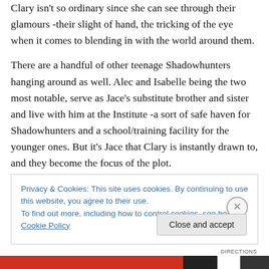Clary isn't so ordinary since she can see through their glamours -their slight of hand, the tricking of the eye when it comes to blending in with the world around them.
There are a handful of other teenage Shadowhunters hanging around as well. Alec and Isabelle being the two most notable, serve as Jace's substitute brother and sister and live with him at the Institute -a sort of safe haven for Shadowhunters and a school/training facility for the younger ones. But it's Jace that Clary is instantly drawn to, and they become the focus of the plot.
Privacy & Cookies: This site uses cookies. By continuing to use this website, you agree to their use.
To find out more, including how to control cookies, see here: Cookie Policy